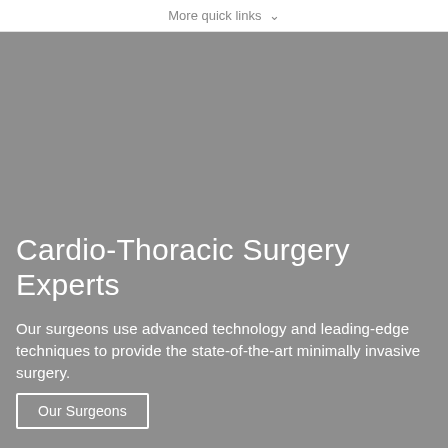More quick links ∨
[Figure (photo): Gray hero image background for Cardio-Thoracic Surgery section]
Cardio-Thoracic Surgery Experts
Our surgeons use advanced technology and leading-edge techniques to provide the state-of-the-art minimally invasive surgery.
Our Surgeons